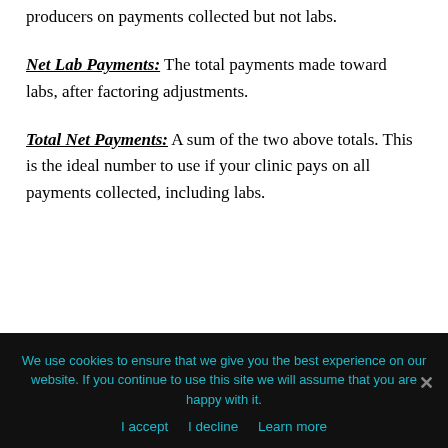producers on payments collected but not labs.
Net Lab Payments: The total payments made toward labs, after factoring adjustments.
Total Net Payments: A sum of the two above totals. This is the ideal number to use if your clinic pays on all payments collected, including labs.
We use cookies to ensure that we give you the best experience on our website. If you continue to use this site we will assume that you are happy with it.
I accept   I decline   Learn more